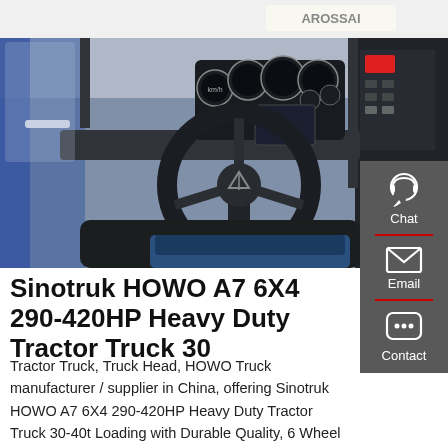[Figure (photo): Interior cab photo of a Sinotruk HOWO A7 heavy duty tractor truck, showing the steering wheel with HOWO logo, instrument cluster with gauges, dashboard, door pillar, and driver seat area.]
Sinotruk HOWO A7 6X4 290-420HP Heavy Duty Tractor Truck 30
Tractor Truck, Truck Head, HOWO Truck manufacturer / supplier in China, offering Sinotruk HOWO A7 6X4 290-420HP Heavy Duty Tractor Truck 30-40t Loading with Durable Quality, 6 Wheel 10 Wheel 50 Ton Dump Truck HOWO Brand New or Used Dump Truck,